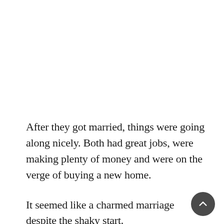After they got married, things were going along nicely. Both had great jobs, were making plenty of money and were on the verge of buying a new home.
It seemed like a charmed marriage despite the shaky start.